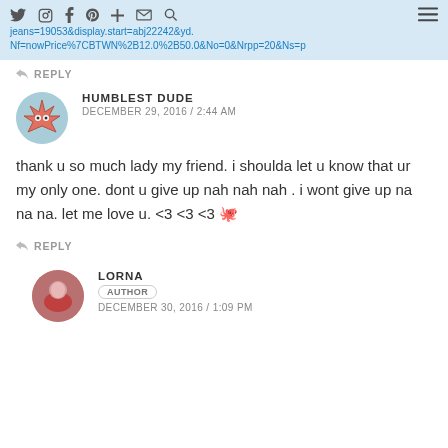[nav icons] [URL] jeans=19053&display.start=abj22242&yd.Nf=nowPrice%7CBTWN%2B12.0%2B50.0&No=0&Nrpp=20&Ns=p
↩ REPLY
HUMBLEST DUDE
DECEMBER 29, 2016 / 2:44 AM
thank u so much lady my friend. i shoulda let u know that ur my only one. dont u give up nah nah nah . i wont give up na na na. let me love u. <3 <3 <3 🐙
↩ REPLY
LORNA
AUTHOR
DECEMBER 30, 2016 / 1:09 PM